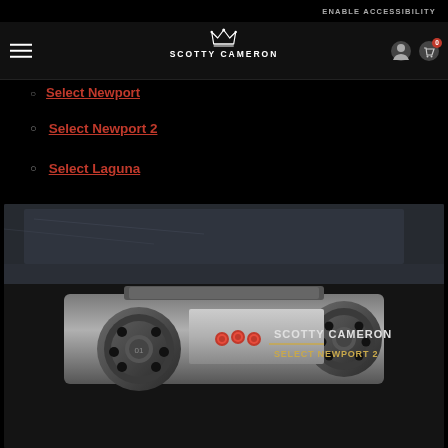ENABLE ACCESSIBILITY
[Figure (logo): Scotty Cameron crown logo and wordmark navigation bar with hamburger menu, user icon, and cart icon with badge showing 0]
Select Newport (partially visible)
Select Newport 2
Select Laguna
[Figure (photo): Close-up product photo of a Scotty Cameron Select Newport 2 putter head in gunmetal finish with red dot weights, resting on dark fabric with denim in background. Engraved text reads SCOTTY CAMERON SELECT NEWPORT 2.]